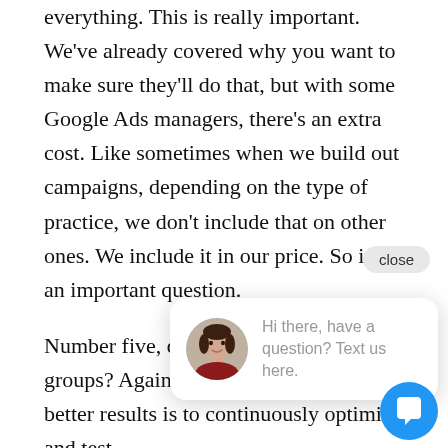everything. This is really important. We've already covered why you want to make sure they'll do that, but with some Google Ads managers, there's an extra cost. Like sometimes when we build out campaigns, depending on the type of practice, we don't include that on other ones. We include it in our price. So it's an important question.
Number five, do you split test ads in ad groups? Again, the only way to get better results is to continuously optimize and test between an AB t basket for that pa do it. You test it. A lot of times in marketing, you have a hypothesis, you test your hypothesis, and then you learn from it.
Number six, will you be leveraging ad extensions to make
[Figure (screenshot): Chat widget overlay showing a close button, avatar photo of a woman, and message 'Hi there, have a question? Text us here.' with a blue circular chat button at the bottom right.]